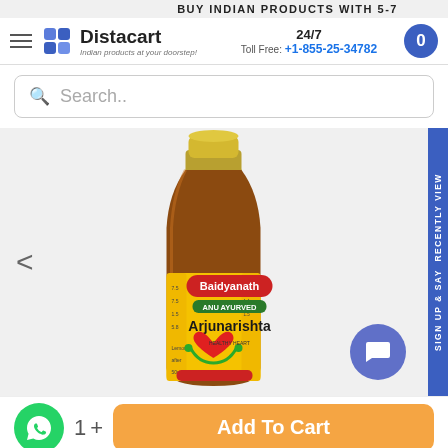BUY INDIAN PRODUCTS WITH 5-7
[Figure (logo): Distacart logo with tagline 'Indian products at your doorstep']
24/7
Toll Free: +1-855-25-34782
Search..
[Figure (photo): Baidyanath Arjunarishta Ayurvedic syrup bottle with yellow and orange label featuring a red heart and stethoscope graphic]
Sign up & say RECENTLY VIEW
Add To Cart